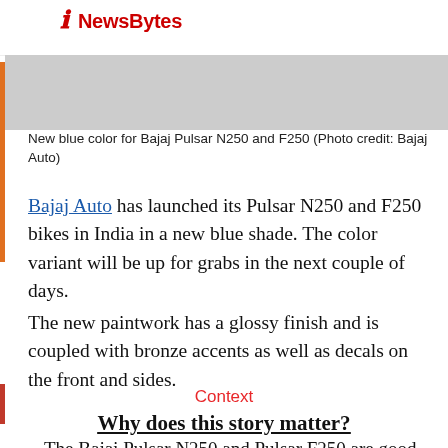NewsBytez
New blue color for Bajaj Pulsar N250 and F250 (Photo credit: Bajaj Auto)
Bajaj Auto has launched its Pulsar N250 and F250 bikes in India in a new blue shade. The color variant will be up for grabs in the next couple of days.
The new paintwork has a glossy finish and is coupled with bronze accents as well as decals on the front and sides.
However, the design, features, and mechanicals remain unchanged.
Context
Why does this story matter?
The Bajaj Pulsar N250 and Pulsar F250 are good-looking vehicles with decent performance. The addition of a new color option should raise their appeal